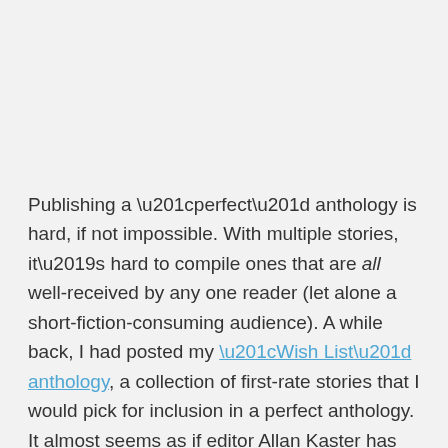Publishing a “perfect” anthology is hard, if not impossible. With multiple stories, it’s hard to compile ones that are all well-received by any one reader (let alone a short-fiction-consuming audience). A while back, I had posted my “Wish List” anthology, a collection of first-rate stories that I would pick for inclusion in a perfect anthology. It almost seems as if editor Allan Kaster has tapped into my own thoughts of 2008’s short fiction selection, because the audio book anthology The Year’s Top Ten Tales of Science Fiction (for 2008) come really close to being perfect.